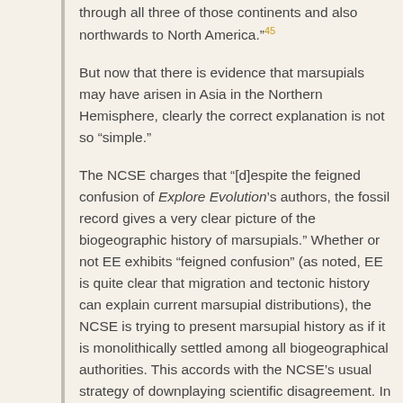through all three of those continents and also northwards to North America.”²⁵
But now that there is evidence that marsupials may have arisen in Asia in the Northern Hemisphere, clearly the correct explanation is not so “simple.”
The NCSE charges that “[d]espite the feigned confusion of Explore Evolution’s authors, the fossil record gives a very clear picture of the biogeographic history of marsupials.” Whether or not EE exhibits “feigned confusion” (as noted, EE is quite clear that migration and tectonic history can explain current marsupial distributions), the NCSE is trying to present marsupial history as if it is monolithically settled among all biogeographical authorities. This accords with the NCSE’s usual strategy of downplaying scientific disagreement. In reality, there are important debates about marsupial origins.